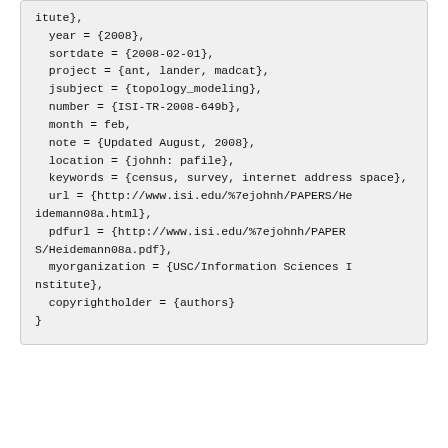itute},
  year = {2008},
  sortdate = {2008-02-01},
  project = {ant, lander, madcat},
  jsubject = {topology_modeling},
  number = {ISI-TR-2008-649b},
  month = feb,
  note = {Updated August, 2008},
  location = {johnh: pafile},
  keywords = {census, survey, internet address space},
  url = {http://www.isi.edu/%7ejohnh/PAPERS/Heidemann08a.html},
  pdfurl = {http://www.isi.edu/%7ejohnh/PAPERS/Heidemann08a.pdf},
  myorganization = {USC/Information Sciences Institute},
  copyrightholder = {authors}
}